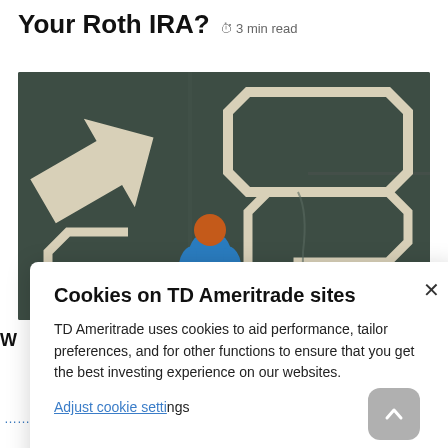Your Roth IRA? 3 min read
[Figure (photo): Aerial/top-down view of a person standing on dark pavement with white road arrow and direction markings painted on the ground. Person wearing blue shirt and orange hat, viewed from above.]
Cookies on TD Ameritrade sites
TD Ameritrade uses cookies to aid performance, tailor preferences, and for other functions to ensure that you get the best investing experience on our websites.
Adjust cookie settings
BrokerCheck